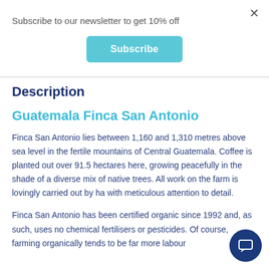Subscribe to our newsletter to get 10% off
Subscribe
Description
Guatemala Finca San Antonio
Finca San Antonio lies between 1,160 and 1,310 metres above sea level in the fertile mountains of Central Guatemala. Coffee is planted out over 91.5 hectares here, growing peacefully in the shade of a diverse mix of native trees. All work on the farm is lovingly carried out by hand, with meticulous attention to detail.
Finca San Antonio has been certified organic since 1992 and, as such, uses no chemical fertilisers or pesticides. Of course, farming organically tends to be far more labour